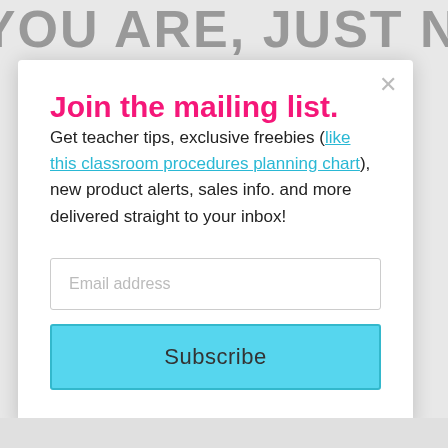TE YOU ARE, JUST NOW
Join the mailing list.
Get teacher tips, exclusive freebies (like this classroom procedures planning chart), new product alerts, sales info. and more delivered straight to your inbox!
Email address
Subscribe